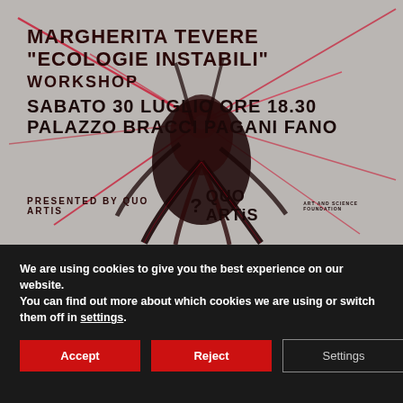[Figure (photo): Event poster with dark abstract creature/sculpture with red glowing lines on grey background. Text overlay shows event details for Margherita Tevere workshop at Palazzo Bracci Pagani, Fano, presented by Quo Artis.]
MARGHERITA TEVERE
"ECOLOGIE INSTABILI"
WORKSHOP
SABATO 30 LUGLIO ORE 18.30
PALAZZO BRACCI PAGANI FANO
PRESENTED BY QUO ARTIS
We are using cookies to give you the best experience on our website.
You can find out more about which cookies we are using or switch them off in settings.
Accept   Reject   Settings